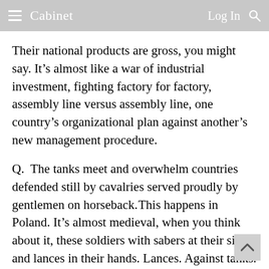≡ Cabinet    Log In 🔍
Their national products are gross, you might say. It's almost like a war of industrial investment, fighting factory for factory, assembly line versus assembly line, one country's organizational plan against another's new management procedure.
Q.  The tanks meet and overwhelm countries defended still by cavalries served proudly by gentlemen on horseback. This happens in Poland. It's almost medieval, when you think about it, these soldiers with sabers at their sides and lances in their hands. Lances. Against tanks.